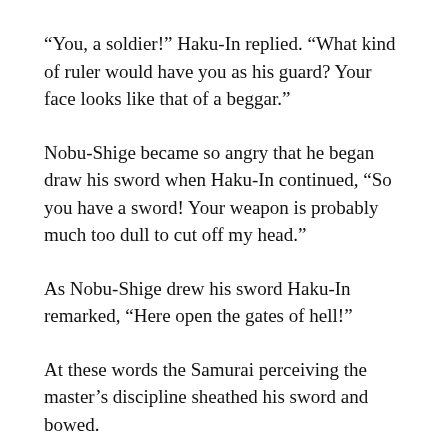“You, a soldier!” Haku-In replied. “What kind of ruler would have you as his guard? Your face looks like that of a beggar.”
Nobu-Shige became so angry that he began draw his sword when Haku-In continued, “So you have a sword! Your weapon is probably much too dull to cut off my head.”
As Nobu-Shige drew his sword Haku-In remarked, “Here open the gates of hell!”
At these words the Samurai perceiving the master’s discipline sheathed his sword and bowed.